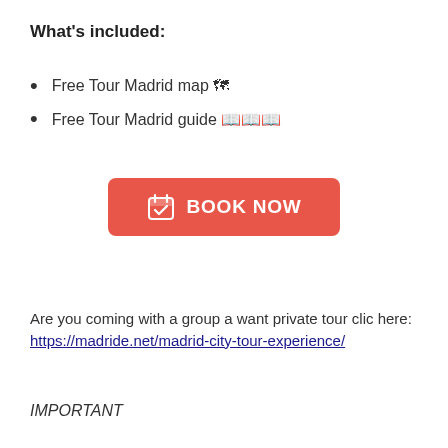What's included:
Free Tour Madrid map 🗺
Free Tour Madrid guide 📖📖📖
[Figure (other): Red BOOK NOW button with calendar icon]
Are you coming with a group a want private tour clic here: https://madride.net/madrid-city-tour-experience/
IMPORTANT